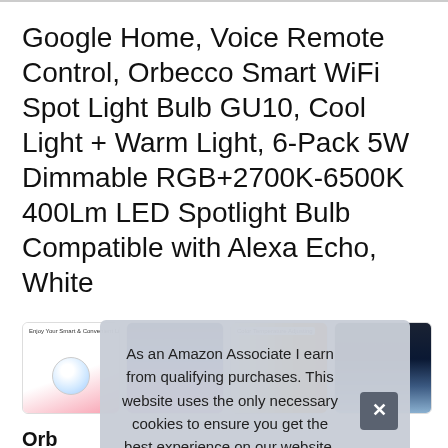Google Home, Voice Remote Control, Orbecco Smart WiFi Spot Light Bulb GU10, Cool Light + Warm Light, 6-Pack 5W Dimmable RGB+2700K-6500K 400Lm LED Spotlight Bulb Compatible with Alexa Echo, White
[Figure (photo): Row of four product thumbnail images: 1) Smart bulb promotional graphic with 'Enjoy Your Smart & Convenient Life' banner; 2) Night pool/building scene with colorful LED lighting; 3) Color Temperature Adjusting chart; 4) Night building scene with purple/blue lighting and phone]
Orb
power: voltage range ac100v-240v, 50/60hz; 2700-6500k + rgb
As an Amazon Associate I earn from qualifying purchases. This website uses the only necessary cookies to ensure you get the best experience on our website. More information